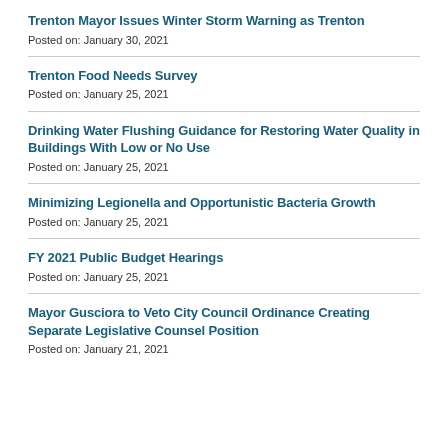Trenton Mayor Issues Winter Storm Warning as Trenton
Posted on: January 30, 2021
Trenton Food Needs Survey
Posted on: January 25, 2021
Drinking Water Flushing Guidance for Restoring Water Quality in Buildings With Low or No Use
Posted on: January 25, 2021
Minimizing Legionella and Opportunistic Bacteria Growth
Posted on: January 25, 2021
FY 2021 Public Budget Hearings
Posted on: January 25, 2021
Mayor Gusciora to Veto City Council Ordinance Creating Separate Legislative Counsel Position
Posted on: January 21, 2021